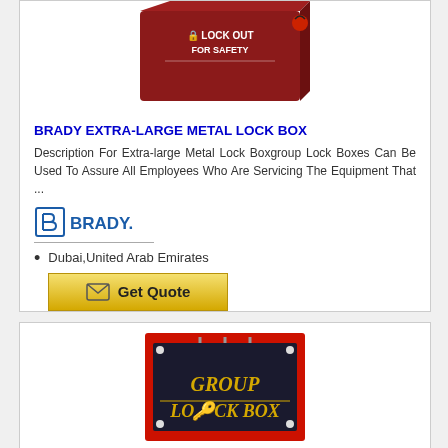[Figure (photo): Red Brady Extra-Large Metal Lock Box with 'LOCK OUT FOR SAFETY' text on front]
BRADY EXTRA-LARGE METAL LOCK BOX
Description For Extra-large Metal Lock Boxgroup Lock Boxes Can Be Used To Assure All Employees Who Are Servicing The Equipment That ...
[Figure (logo): Brady company logo with stylized 'B' icon and BRADY. wordmark in blue]
Dubai,United Arab Emirates
[Figure (other): Get Quote button with envelope icon]
[Figure (photo): Red Group Lock Box with glass front panel showing 'GROUP LOCK BOX' text in gold letters]